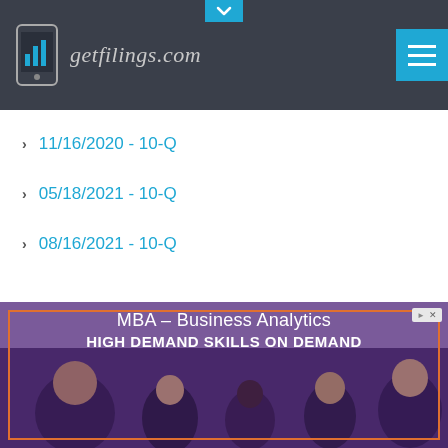[Figure (logo): getfilings.com logo with phone/bar chart icon on dark gray header bar]
11/16/2020 - 10-Q
05/18/2021 - 10-Q
08/16/2021 - 10-Q
[Figure (photo): MBA Business Analytics advertisement banner with text 'MBA – Business Analytics' and 'HIGH DEMAND SKILLS ON DEMAND' over a photo of business professionals at a networking event]